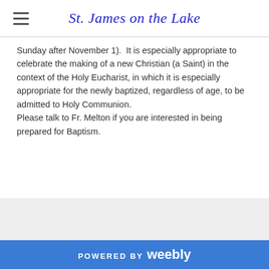St. James on the Lake
Sunday after November 1).  It is especially appropriate to celebrate the making of a new Christian (a Saint) in the context of the Holy Eucharist, in which it is especially appropriate for the newly baptized, regardless of age, to be admitted to Holy Communion.
Please talk to Fr. Melton if you are interested in being prepared for Baptism.
POWERED BY weebly